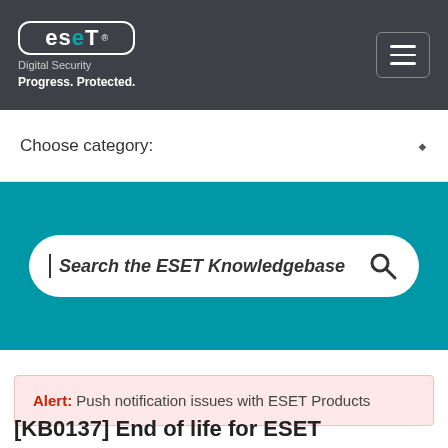ESET Digital Security — Progress. Protected.
Choose category:
[Figure (screenshot): Teal search bar section with search input: Search the ESET Knowledgebase]
Alert: Push notification issues with ESET Products
[KB0137] End of life for ESET